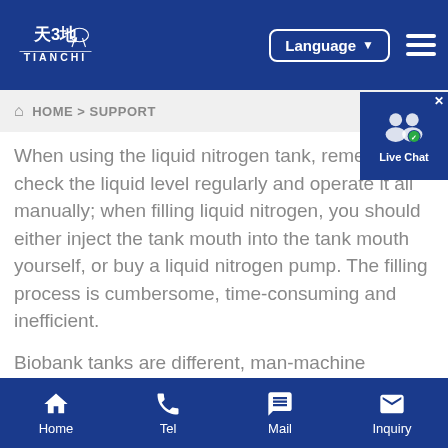[Figure (logo): Tianchi company logo with Chinese characters and white horse illustration on dark blue background, text TIANCHI below]
Language ▼  ≡
HOME > SUPPORT
When using the liquid nitrogen tank, remember to check the liquid level regularly and operate it all manually; when filling liquid nitrogen, you should either inject the tank mouth into the tank mouth yourself, or buy a liquid nitrogen pump. The filling process is cumbersome, time-consuming and inefficient.
Biobank tanks are different, man-machine integrated management, the system comes with monitoring and remote operation, the liquid level can be seen at any
Home    Tel    Mail    Inquiry